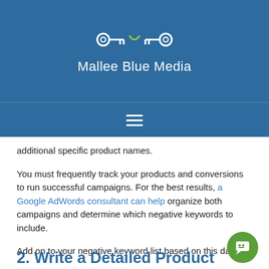Mallee Blue Media
additional specific product names.
You must frequently track your products and conversions to run successful campaigns. For the best results, a Google AdWords consultant can help organize both campaigns and determine which negative keywords to include.
Add on to your negative keyword list based on this data
2. Write a Detailed Product...